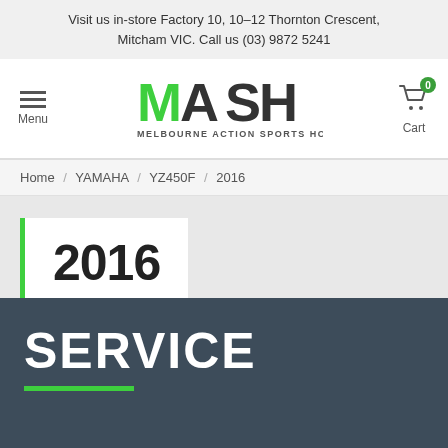Visit us in-store Factory 10, 10-12 Thornton Crescent, Mitcham VIC. Call us (03) 9872 5241
[Figure (logo): MASH Melbourne Action Sports Home logo with green and dark text]
Home / YAMAHA / YZ450F / 2016
2016
SERVICE